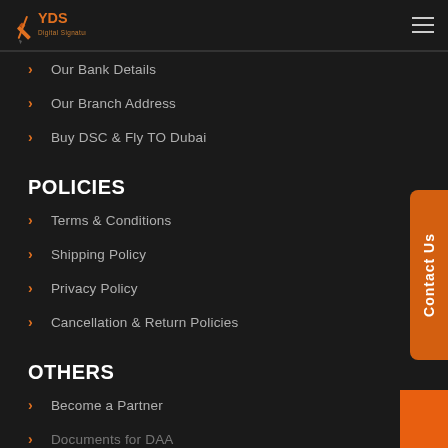YDS Digital Signature
Our Bank Details
Our Branch Address
Buy DSC & Fly TO Dubai
POLICIES
Terms & Conditions
Shipping Policy
Privacy Policy
Cancellation & Return Policies
OTHERS
Become a Partner
Documents for DAA